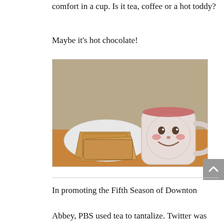comfort in a cup. Is it tea, coffee or a hot toddy?
Maybe it's hot chocolate!
[Figure (photo): A white plate with two pieces of toasted bread and a decorative mug with a smiling face design filled with a pink/reddish hot chocolate drink, set on a wooden surface with a stone/plaster wall in the background.]
In promoting the Fifth Season of Downton Abbey, PBS used tea to tantalize. Twitter was chirping with the hashtag #BIGsip and illustrations